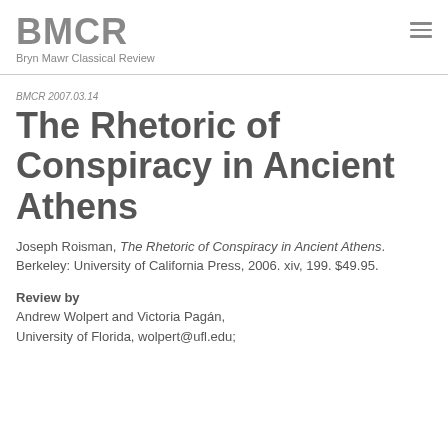BMCR
Bryn Mawr Classical Review
BMCR 2007.03.14
The Rhetoric of Conspiracy in Ancient Athens
Joseph Roisman, The Rhetoric of Conspiracy in Ancient Athens. Berkeley: University of California Press, 2006. xiv, 199. $49.95.
Review by
Andrew Wolpert and Victoria Pagán, University of Florida, wolpert@ufl.edu;